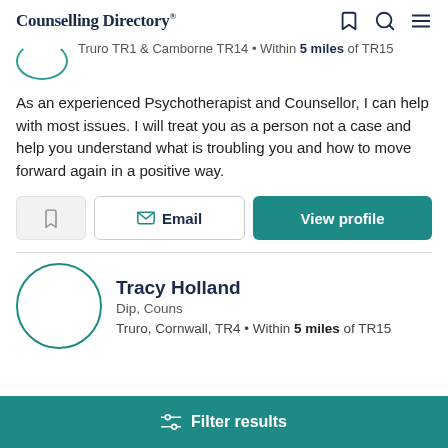Counselling Directory®
Truro TR1 & Camborne TR14 • Within 5 miles of TR15
As an experienced Psychotherapist and Counsellor, I can help with most issues. I will treat you as a person not a case and help you understand what is troubling you and how to move forward again in a positive way.
Email  |  View profile
Tracy Holland
Dip, Couns
Truro, Cornwall, TR4 • Within 5 miles of TR15
Filter results